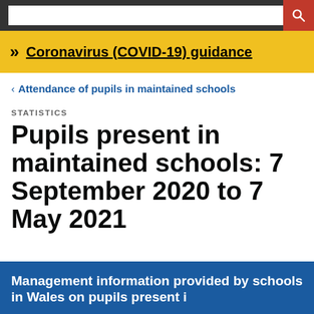Coronavirus (COVID-19) guidance
< Attendance of pupils in maintained schools
STATISTICS
Pupils present in maintained schools: 7 September 2020 to 7 May 2021
Management information provided by schools in Wales on pupils present i